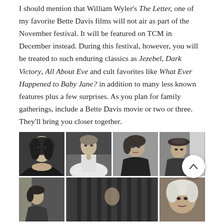I should mention that William Wyler's The Letter, one of my favorite Bette Davis films will not air as part of the November festival. It will be featured on TCM in December instead. During this festival, however, you will be treated to such enduring classics as Jezebel, Dark Victory, All About Eve and cult favorites like What Ever Happened to Baby Jane? in addition to many less known features plus a few surprises. As you plan for family gatherings, include a Bette Davis movie or two or three. They'll bring you closer together.
[Figure (photo): A 2-row grid of 4 black-and-white photos of Bette Davis in various film roles and poses. Top row: glamour portrait, white dress scene, seated casual, reclining with hat. Bottom row: partial view of additional film stills.]